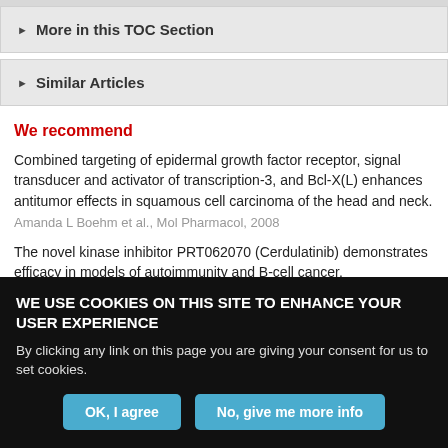More in this TOC Section
Similar Articles
We recommend
Combined targeting of epidermal growth factor receptor, signal transducer and activator of transcription-3, and Bcl-X(L) enhances antitumor effects in squamous cell carcinoma of the head and neck.
Amanda L Boehm et al., Mol Pharmacol, 2008
The novel kinase inhibitor PRT062070 (Cerdulatinib) demonstrates efficacy in models of autoimmunity and B-cell cancer.
WE USE COOKIES ON THIS SITE TO ENHANCE YOUR USER EXPERIENCE
By clicking any link on this page you are giving your consent for us to set cookies.